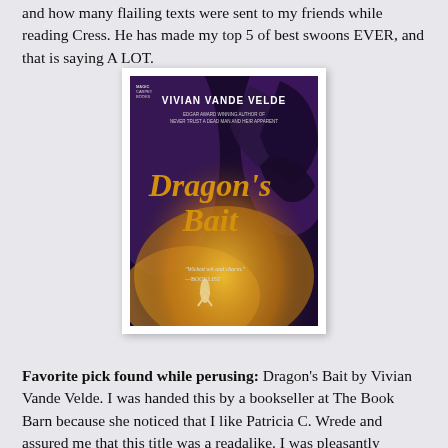and how many flailing texts were sent to my friends while reading Cress. He has made my top 5 of best swoons EVER, and that is saying A LOT.
[Figure (photo): Book cover of Dragon's Bait by Vivian Vande Velde. Dark fantasy cover showing a dragon looming over a small human figure, with purple and golden tones. Published by Magic Carpet Books. Quote: 'Wicked wit and charm.' —BOOKLIST]
Favorite pick found while perusing: Dragon's Bait by Vivian Vande Velde. I was handed this by a bookseller at The Book Barn because she noticed that I like Patricia C. Wrede and assured me that this title was a readalike. I was pleasantly surprised over the nostalgia, I obviously also loved the strength in